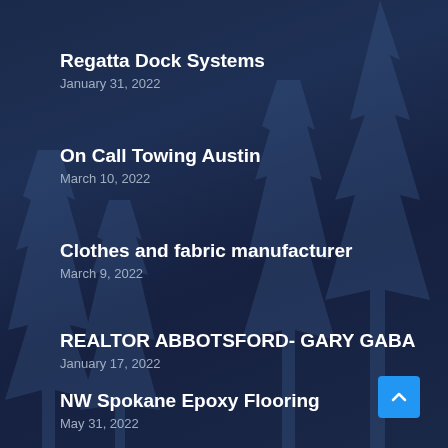Regatta Dock Systems
January 31, 2022
On Call Towing Austin
March 10, 2022
Clothes and fabric manufacturer
March 9, 2022
REALTOR ABBOTSFORD- GARY GABA
January 17, 2022
NW Spokane Epoxy Flooring
May 31, 2022